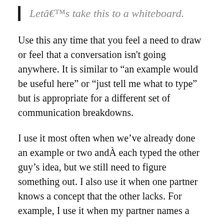Letâ€™s take this to a whiteboard.
Use this any time that you feel a need to draw or feel that a conversation isn't going anywhere. It is similar to “an example would be useful here” or “just tell me what to type” but is appropriate for a different set of communication breakdowns.
I use it most often when we’ve already done an example or two andÂ each typed the other guy’s idea, but we still need to figure something out. I also use it when one partner knows a concept that the other lacks. For example, I use it when my partner names a